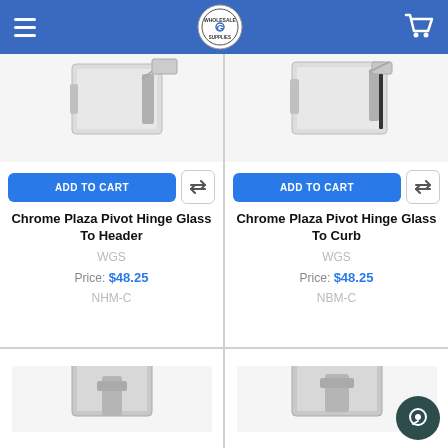Wholesale Glass Supplies - Navigation header
[Figure (photo): Chrome Plaza Pivot Hinge Glass To Header product photo (partial, top portion cropped)]
ADD TO CART
Chrome Plaza Pivot Hinge Glass To Header
WGS
Price: $48.25
NHM-C
[Figure (photo): Chrome Plaza Pivot Hinge Glass To Curb product photo (partial, top portion cropped)]
ADD TO CART
Chrome Plaza Pivot Hinge Glass To Curb
WGS
Price: $48.25
NBM-C
[Figure (photo): Third product photo (partial, bottom of page, cropped)]
[Figure (photo): Fourth product photo (partial, bottom of page, cropped)]